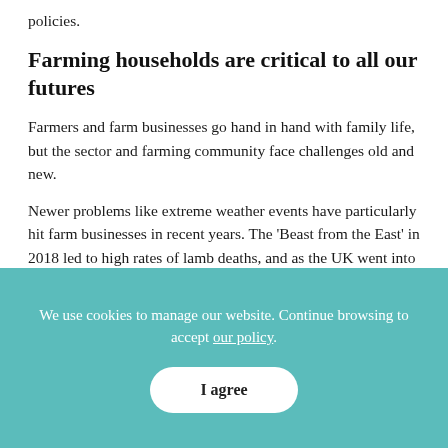policies.
Farming households are critical to all our futures
Farmers and farm businesses go hand in hand with family life, but the sector and farming community face challenges old and new.
Newer problems like extreme weather events have particularly hit farm businesses in recent years. The ‘Beast from the East’ in 2018 led to high rates of lamb deaths, and as the UK went into lockdown in 2020, we enjoyed one of
We use cookies to manage our website. Continue browsing to accept our policy.
I agree